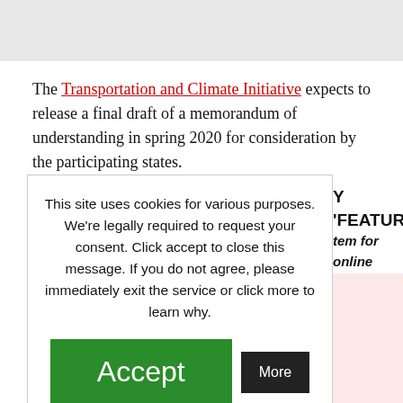[Figure (other): Gray banner bar at top of page]
The Transportation and Climate Initiative expects to release a final draft of a memorandum of understanding in spring 2020 for consideration by the participating states.
This site uses cookies for various purposes. We're legally required to request your consent. Click accept to close this message. If you do not agree, please immediately exit the service or click more to learn why.
Accept | More
Y 'FEATURED'
tem for online t NewsGuard to ne Lamestream wsGuard works to find certain r stories their editors deem "not in your best interest" - regardless of